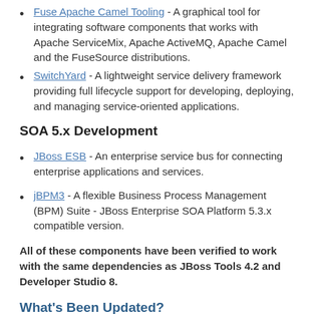Fuse Apache Camel Tooling - A graphical tool for integrating software components that works with Apache ServiceMix, Apache ActiveMQ, Apache Camel and the FuseSource distributions.
SwitchYard - A lightweight service delivery framework providing full lifecycle support for developing, deploying, and managing service-oriented applications.
SOA 5.x Development
JBoss ESB - An enterprise service bus for connecting enterprise applications and services.
jBPM3 - A flexible Business Process Management (BPM) Suite - JBoss Enterprise SOA Platform 5.3.x compatible version.
All of these components have been verified to work with the same dependencies as JBoss Tools 4.2 and Developer Studio 8.
What's Been Updated?
Updates have been made to the Business Process tooling